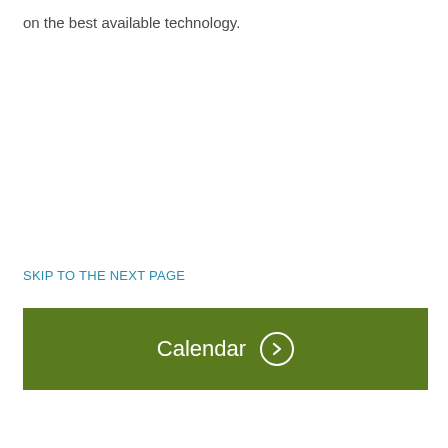on the best available technology.
SKIP TO THE NEXT PAGE
[Figure (other): Green button labeled 'Calendar' with a right-arrow circle icon]